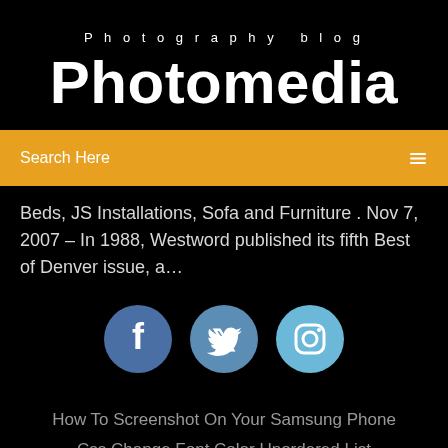Photography blog
Photomedia
Search Here
Beds, JS Installations, Sofa and Furniture . Nov 7, 2007 – In 1988, Westword published its fifth Best of Denver issue, a…
[Figure (infographic): Three social media icon circles: Facebook (dark blue), Twitter (medium blue), Instagram (light blue)]
How To Screenshot On Your Samsung Phone
Css Change Font Color Unordered List
Burning Series Game Of Thrones Staffel 2 Folge 2